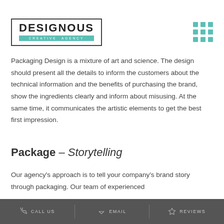[Figure (logo): Designous Creative Agency logo — black bordered rectangle with bold DESIGNOUS text and teal CREATIVE AGENCY subtitle]
[Figure (other): 3x3 grid of teal square dots in top-right corner]
Packaging Design is a mixture of art and science. The design should present all the details to inform the customers about the technical information and the benefits of purchasing the brand, show the ingredients clearly and inform about misusing. At the same time, it communicates the artistic elements to get the best first impression.
Package – Storytelling
Our agency's approach is to tell your company's brand story through packaging. Our team of experienced
CALL US   EMAIL   REVIEWS